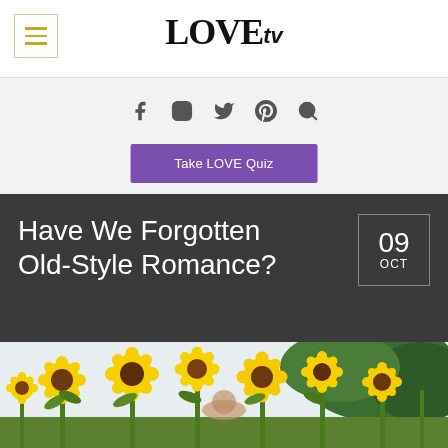LOVE tv
[Figure (logo): LOVE tv logo with hamburger menu button]
[Figure (infographic): Social media icons: Facebook, Instagram, Twitter, Pinterest, Search]
Take LOVE Quiz
Have We Forgotten Old-Style Romance?
09 OCT
[Figure (photo): Woman standing in a field of sunflowers with bright yellow blooms and green foliage]